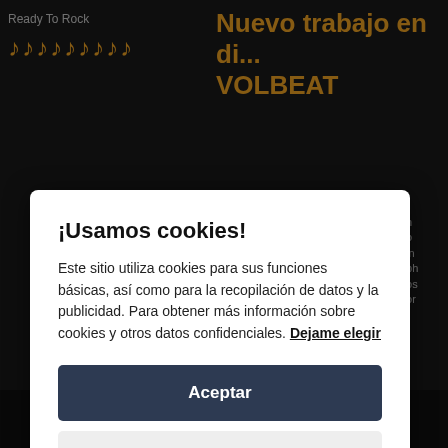Ready To Rock
[Figure (illustration): Row of orange musical note emojis]
Nuevo trabajo en di... VOLBEAT
un no ion eph dos dor
¡Usamos cookies!
Este sitio utiliza cookies para sus funciones básicas, así como para la recopilación de datos y la publicidad. Para obtener más información sobre cookies y otros datos confidenciales. Dejame elegir
Aceptar
Close
[Figure (illustration): Dark album art with decorative line drawing figure at bottom right]